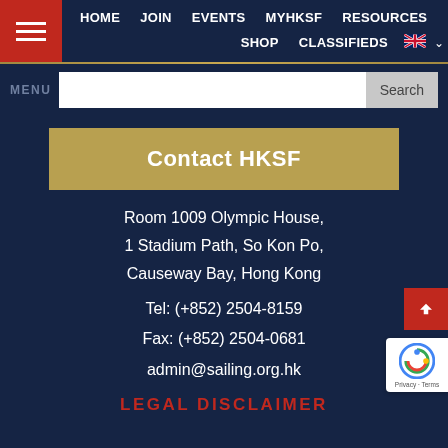HOME  JOIN  EVENTS  MyHKSF  RESOURCES  SHOP  CLASSIFIEDS
MENU Search
Contact HKSF
Room 1009 Olympic House,
1 Stadium Path, So Kon Po,
Causeway Bay, Hong Kong
Tel: (+852) 2504-8159
Fax: (+852) 2504-0681
admin@sailing.org.hk
LEGAL DISCLAIMER